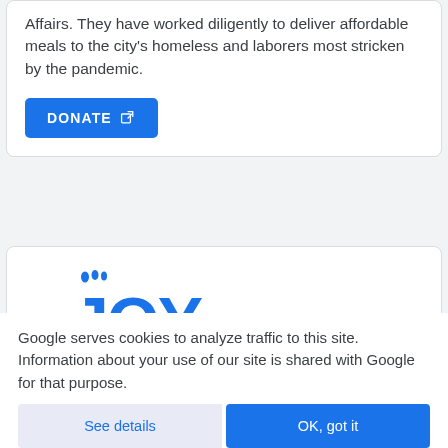Affairs. They have worked diligently to deliver affordable meals to the city's homeless and laborers most stricken by the pandemic.
DONATE
[Figure (logo): JOY logo with footprints above the letter J, in blue]
Google serves cookies to analyze traffic to this site. Information about your use of our site is shared with Google for that purpose.
See details
OK, got it